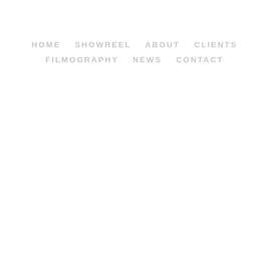HOME   SHOWREEL   ABOUT   CLIENTS   FILMOGRAPHY   NEWS   CONTACT